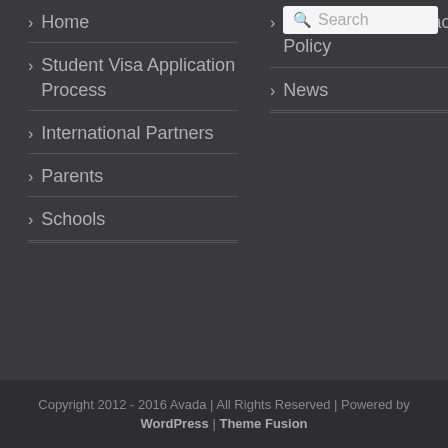Home
Student Visa Application Process
International Partners
Parents
Schools
Copyright and Privacy Policy
News
Copyright 2012 - 2016 Avada | All Rights Reserved | Powered by WordPress | Theme Fusion